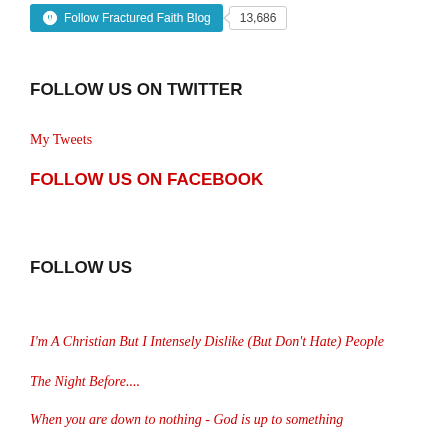[Figure (other): WordPress Follow button for Fractured Faith Blog with follower count badge showing 13,686]
FOLLOW US ON TWITTER
My Tweets
FOLLOW US ON FACEBOOK
FOLLOW US
I'm A Christian But I Intensely Dislike (But Don't Hate) People
The Night Before....
When you are down to nothing - God is up to something